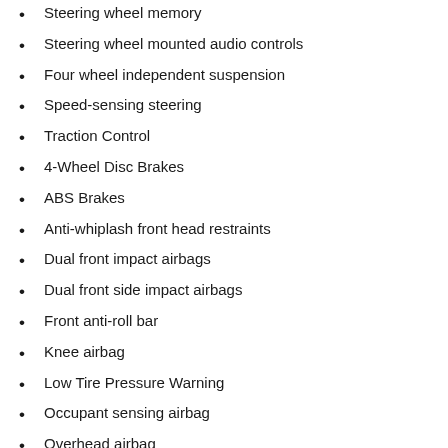Steering wheel memory
Steering wheel mounted audio controls
Four wheel independent suspension
Speed-sensing steering
Traction Control
4-Wheel Disc Brakes
ABS Brakes
Anti-whiplash front head restraints
Dual front impact airbags
Dual front side impact airbags
Front anti-roll bar
Knee airbag
Low Tire Pressure Warning
Occupant sensing airbag
Overhead airbag
Rear anti-roll bar
Power moonroof
Brake Assist
Electronic Stability Control